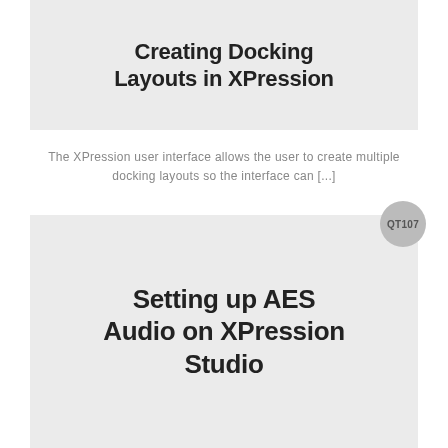[Figure (screenshot): Light gray card thumbnail with bold title text 'Creating Docking Layouts in XPression']
The XPression user interface allows the user to create multiple docking layouts so the interface can [...]
[Figure (screenshot): Light gray card thumbnail with bold title text 'Setting up AES Audio on XPression Studio' and a gray circular badge labeled QT107]